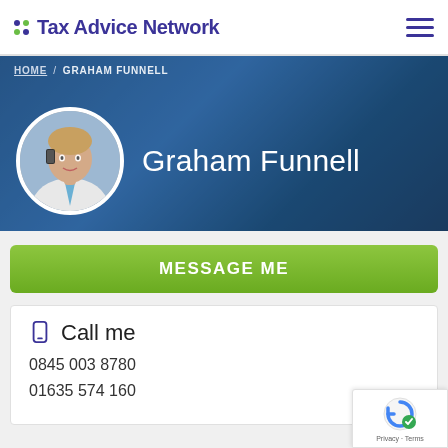Tax Advice Network
HOME / GRAHAM FUNNELL
Graham Funnell
[Figure (photo): Circular profile photo of Graham Funnell, a man in a suit on a phone call]
MESSAGE ME
Call me
0845 003 8780
01635 574 160